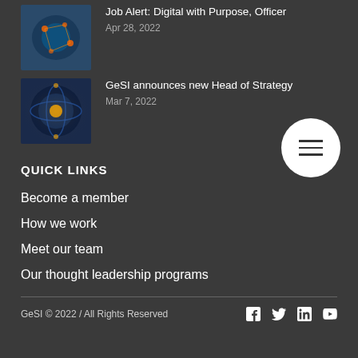Job Alert: Digital with Purpose, Officer
Apr 28, 2022
GeSI announces new Head of Strategy
Mar 7, 2022
QUICK LINKS
Become a member
How we work
Meet our team
Our thought leadership programs
GeSI © 2022 / All Rights Reserved